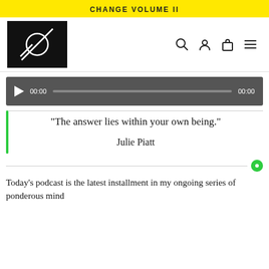CHANGE VOLUME II
[Figure (logo): Website logo: black square with white geometric symbol (circle with crossing lines) representing a brand mark, with navigation icons (search, user, cart, menu) to the right]
[Figure (screenshot): Audio player in dark gray with play button, 00:00 time display, progress bar, and 00:00 duration]
“The answer lies within your own being.”
Julie Piatt
Today's podcast is the latest installment in my ongoing series of ponderous mind